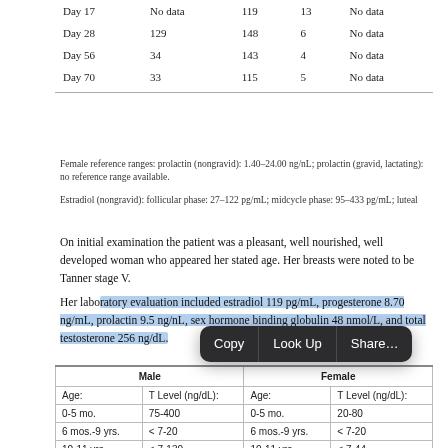|  |  |  |  |  |
| --- | --- | --- | --- | --- |
| Day 17 | No data | 119 | 13 | No data |
| Day 28 | 129 | 148 | 6 | No data |
| Day 56 | 34 | 143 | 4 | No data |
| Day 70 | 33 | 115 | 5 | No data |
Female reference ranges: prolactin (nongravid): 1.40–24.00 ng/nL; prolactin (gravid, lactating): no reference range available.

Estradiol (nongravid): follicular phase: 27–122 pg/mL; midcycle phase: 95–433 pg/mL; luteal
On initial examination the patient was a pleasant, well nourished, well developed woman who appeared her stated age. Her breasts were noted to be Tanner stage V.
Her laboratory evaluation included estradiol 119 pg/mL, progesterone 8.70 ng/mL, prolactin 9.5 ng/nL, sex hormone binding globulin 48 nmol/L, and total testosterone 256 ng/dL.
| Male |  | Female |  |
| --- | --- | --- | --- |
| Age: | T Level (ng/dL): | Age: | T Level (ng/dL): |
| 0-5 mo. | 75-400 | 0-5 mo. | 20-80 |
| 6 mos.-9 yrs. | < 7-20 | 6 mos.-9 yrs. | < 7-20 |
| 10-11 yrs. | < 7-130 | 10-11 yrs. | < 7-44 |
| 12-13 yrs. | < 7-800 | 12-16 yrs. | < 7-75 |
| 14 yrs. | < 7-1,200 |  |  |
| 15-16 yrs. | 100-1,200 |  |  |
| 17-18 yrs. | 200-1,200 | 17-18 yrs. | 20-75 |